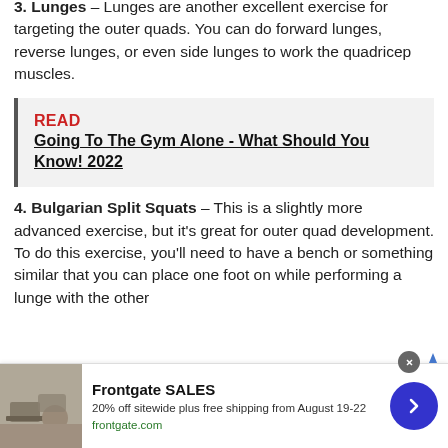3. Lunges – Lunges are another excellent exercise for targeting the outer quads. You can do forward lunges, reverse lunges, or even side lunges to work the quadricep muscles.
READ  Going To The Gym Alone - What Should You Know! 2022
4. Bulgarian Split Squats – This is a slightly more advanced exercise, but it's great for outer quad development. To do this exercise, you'll need to have a bench or something similar that you can place one foot on while performing a lunge with the other
[Figure (infographic): Frontgate SALES advertisement banner with outdoor furniture image, text: Frontgate SALES, 20% off sitewide plus free shipping from August 19-22, frontgate.com, with a blue circular arrow button and close button]